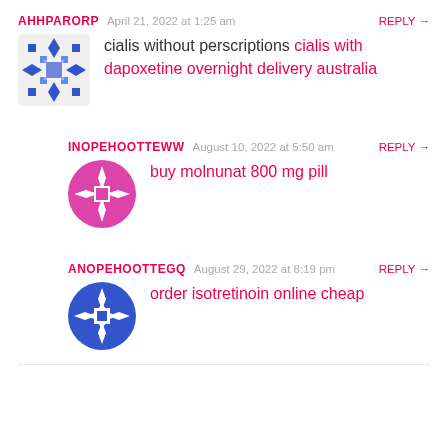AHHPARORP — April 21, 2022 at 1:25 am — REPLY →
[Figure (illustration): Blue pixel/diamond pattern avatar for AHHPARORP]
cialis without perscriptions cialis with dapoxetine overnight delivery australia
INOPEHOOTTEWW — August 10, 2022 at 5:50 am — REPLY →
[Figure (illustration): Magenta/pink pixel pattern circular avatar for INOPEHOOTTEWW]
buy molnunat 800 mg pill
ANOPEHOOTTEGQ — August 29, 2022 at 8:19 pm — REPLY →
[Figure (illustration): Blue pixel/diamond pattern circular avatar for ANOPEHOOTTEGQ]
order isotretinoin online cheap